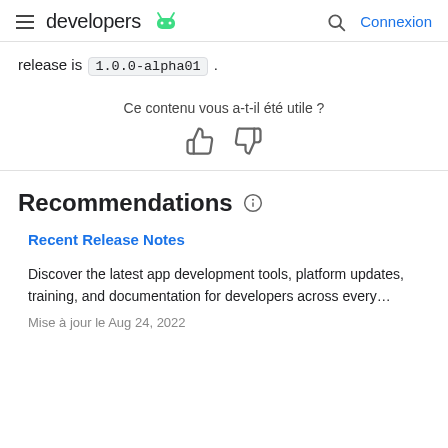developers
release is 1.0.0-alpha01 .
Ce contenu vous a-t-il été utile ?
Recommendations
Recent Release Notes
Discover the latest app development tools, platform updates, training, and documentation for developers across every…
Mise à jour le Aug 24, 2022